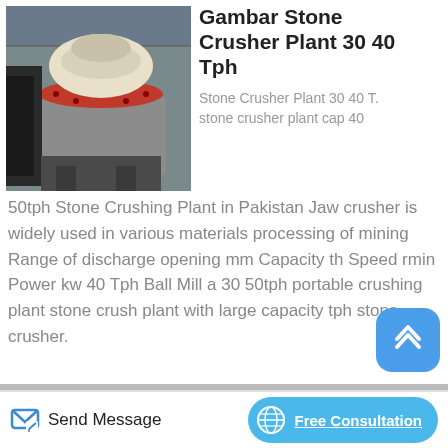[Figure (photo): Stone crusher plant machinery in industrial shed, showing a cone crusher with red and white coloring]
Gambar Stone Crusher Plant 30 40 Tph
Stone Crusher Plant 30 40 T. stone crusher plant cap 40 50tph Stone Crushing Plant in Pakistan Jaw crusher is widely used in various materials processing of mining Range of discharge opening mm Capacity th Speed rmin Power kw 40 Tph Ball Mill a 30 50tph portable crushing plant stone crush plant with large capacity tph stone crusher.
[Figure (photo): Mobile crushing plant equipment in outdoor setting, showing jaw crusher with large flywheel]
Mobile Crushing Plant Tanzania Crusher